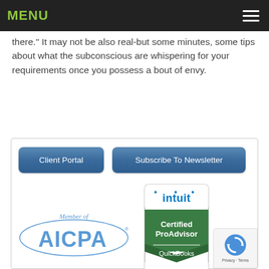MENU
there." It may not be also real-but some minutes, some tips about what the subconscious are whispering for your requirements once you possess a bout of envy.
[Figure (other): Two buttons: 'Client Portal' and 'Subscribe To Newsletter', styled as blue rounded rectangles]
[Figure (logo): AICPA Member of logo - blue elliptical banner with AICPA text]
[Figure (logo): Intuit Certified ProAdvisor QuickBooks badge - green and white badge]
[Figure (other): reCAPTCHA badge with Privacy and Terms text]